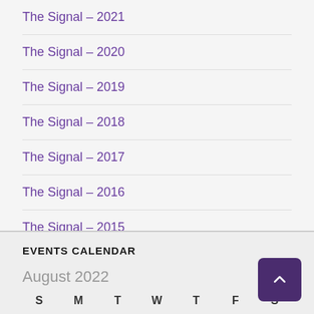The Signal – 2021
The Signal – 2020
The Signal – 2019
The Signal – 2018
The Signal – 2017
The Signal – 2016
The Signal – 2015
The Signal – 2014
EVENTS CALENDAR
August 2022
S  M  T  W  T  F  S